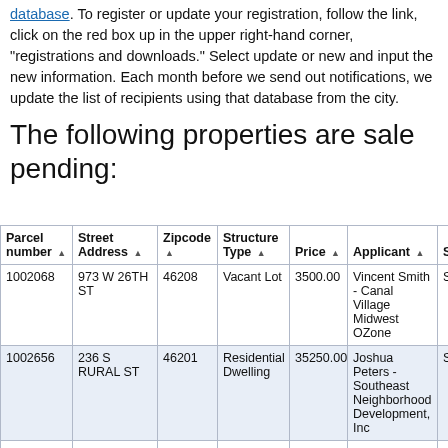To register or update your registration, follow the link, click on the red box up in the upper right-hand corner, "registrations and downloads." Select update or new and input the new information. Each month before we send out notifications, we update the list of recipients using that database from the city.
The following properties are sale pending:
| Parcel number | Street Address | Zipcode | Structure Type | Price | Applicant | S |
| --- | --- | --- | --- | --- | --- | --- |
| 1002068 | 973 W 26TH ST | 46208 | Vacant Lot | 3500.00 | Vincent Smith - Canal Village Midwest OZone | S... |
| 1002656 | 236 S RURAL ST | 46201 | Residential Dwelling | 35250.00 | Joshua Peters - Southeast Neighborhood Development, Inc | S... |
| 1003617 | 2452 N HARDING ST | 46208 | Residential Dwelling | 24000.00 | Larry Love - Outreach Unlimited Inc | S... |
|  |  |  |  |  | Vincent Smith | S... |